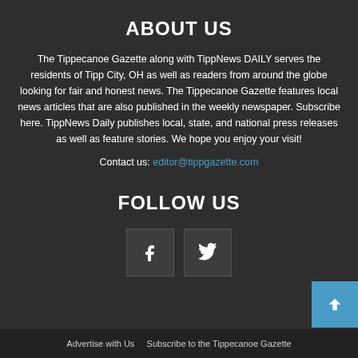ABOUT US
The Tippecanoe Gazette along with TippNews DAILY serves the residents of Tipp City, OH as well as readers from around the globe looking for fair and honest news. The Tippecanoe Gazette features local news articles that are also published in the weekly newspaper. Subscribe here. TippNews Daily publishes local, state, and national press releases as well as feature stories. We hope you enjoy your visit!
Contact us: editor@tippgazette.com
FOLLOW US
[Figure (illustration): Facebook icon (f) and Twitter bird icon in dark square boxes]
Advertise with Us   Subscribe to the Tippecanoe Gazette